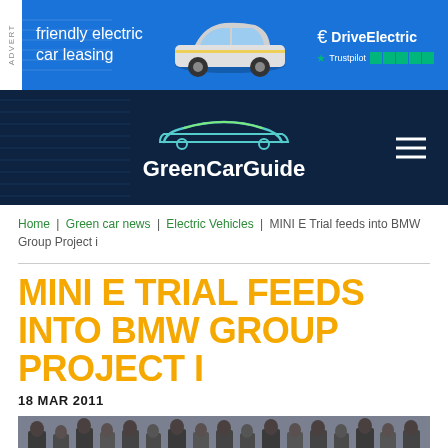[Figure (other): Advertisement banner for DriveElectric showing a MINI Electric car with text 'friendly electric car leasing', DriveElectric logo, and Trustpilot 5-star rating on blue background]
[Figure (logo): GreenCarGuide website navigation header with dark navy background, car outline logo, GreenCarGuide text, and hamburger menu icon]
Home | Green car news | Electric Vehicles | MINI E Trial feeds into BMW Group Project i
MINI E TRIAL FEEDS INTO BMW GROUP PROJECT I
18 MAR 2011
[Figure (photo): Group of people standing outdoors, partially visible at bottom of page]